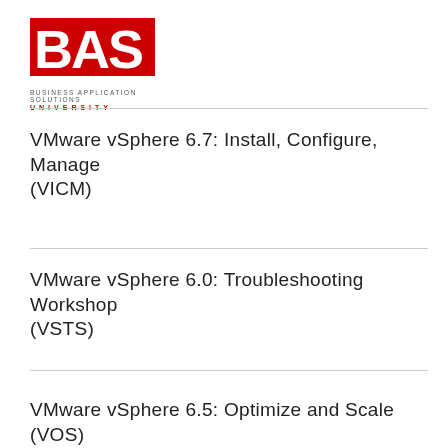[Figure (logo): BAS Business Application Solutions University logo with large red BAS letters and text beneath]
VMware vSphere 6.7: Install, Configure, Manage (VICM)
VMware vSphere 6.0: Troubleshooting Workshop (VSTS)
VMware vSphere 6.5: Optimize and Scale (VOS)